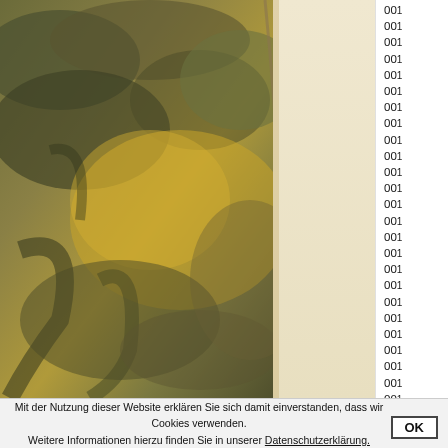[Figure (photo): Close-up photograph of a textured stone or rock surface with olive-green, brown, and golden-yellow tones. On the right side there is a cream/beige aged paper or parchment area. The image appears to be a scan of an old book or atlas page showing a detailed geological or artistic texture.]
001
001
001
001
001
001
001
001
001
001
001
001
001
001
001
001
001
001
001
001
001
001
001
001
001
001
001
001
001
Mit der Nutzung dieser Website erklären Sie sich damit einverstanden, dass wir Cookies verwenden. Weitere Informationen hierzu finden Sie in unserer Datenschutzerklärung.